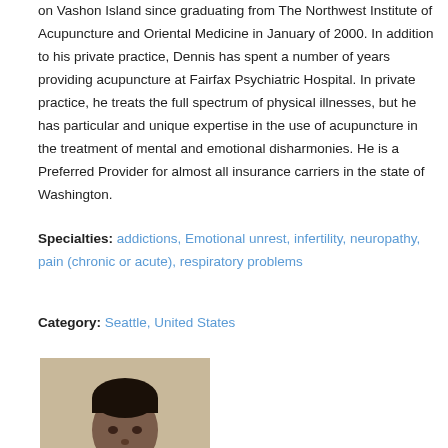on Vashon Island since graduating from The Northwest Institute of Acupuncture and Oriental Medicine in January of 2000. In addition to his private practice, Dennis has spent a number of years providing acupuncture at Fairfax Psychiatric Hospital. In private practice, he treats the full spectrum of physical illnesses, but he has particular and unique expertise in the use of acupuncture in the treatment of mental and emotional disharmonies. He is a Preferred Provider for almost all insurance carriers in the state of Washington.
Specialties: addictions, Emotional unrest, infertility, neuropathy, pain (chronic or acute), respiratory problems
Category: Seattle, United States
[Figure (photo): Portrait photo of a man with short dark hair against a neutral background]